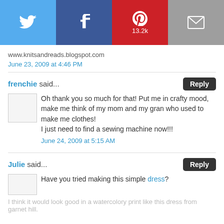[Figure (other): Social sharing bar with Twitter, Facebook, Pinterest (13.2k), and Email buttons]
www.knitsandreads.blogspot.com
June 23, 2009 at 4:46 PM
frenchie said...
Reply
Oh thank you so much for that! Put me in crafty mood, make me think of my mom and my gran who used to make me clothes!
I just need to find a sewing machine now!!!
June 24, 2009 at 5:15 AM
Julie said...
Reply
Have you tried making this simple dress?
I think it would look good in a watercolory print like this dress from garnet hill.